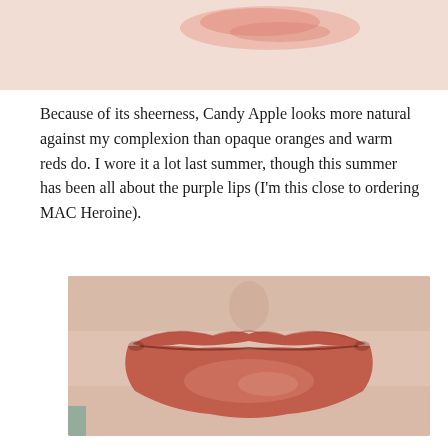[Figure (photo): Close-up photo of a skin swatch showing a pink/red lip color on fair skin, cropped at top of page]
Because of its sheerness, Candy Apple looks more natural against my complexion than opaque oranges and warm reds do. I wore it a lot last summer, though this summer has been all about the purple lips (I'm this close to ordering MAC Heroine).
[Figure (photo): Close-up photo of lips wearing a sheer coral-red lipstick on fair skin]
Here it is swatched between Maybelline Vibrant